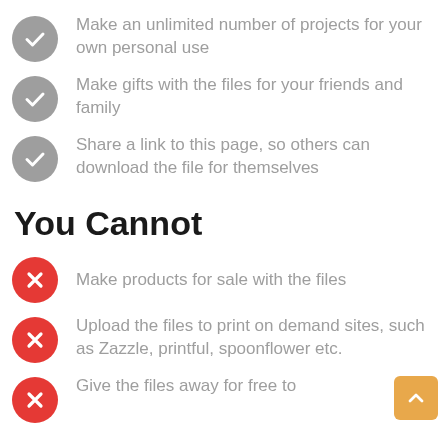Make an unlimited number of projects for your own personal use
Make gifts with the files for your friends and family
Share a link to this page, so others can download the file for themselves
You Cannot
Make products for sale with the files
Upload the files to print on demand sites, such as Zazzle, printful, spoonflower etc.
Give the files away for free to